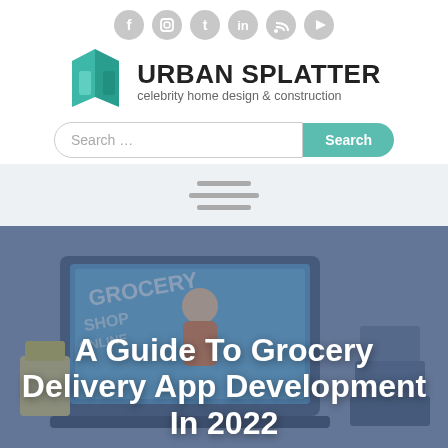Urban Splatter — celebrity home design & construction
[Figure (screenshot): Website header for Urban Splatter with social media icons, logo with teal geometric mark, site name in bold, subtitle 'celebrity home design & construction', and a search bar with teal Search button]
[Figure (infographic): Hamburger menu navigation bar with three gray horizontal lines on a light gray background]
[Figure (illustration): Hero image showing a grocery delivery themed illustration with a laptop displaying 'Grocery Shop Online', a delivery person, and grocery bags, overlaid with a blue-gray tint]
A Guide To Grocery Delivery App Development In 2022